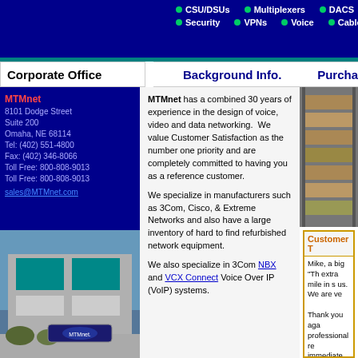CSU/DSUs | Multiplexers | DACS | Mgmt. | Security | VPNs | Voice | Cables
Corporate Office
Background Info.
Purcha
MTMnet
8101 Dodge Street
Suite 200
Omaha, NE 68114
Tel: (402) 551-4800
Fax: (402) 346-8066
Toll Free: 800-808-9013
Toll Free: 800-808-9013
sales@MTMnet.com
MTMnet has a combined 30 years of experience in the design of voice, video and data networking.  We value Customer Satisfaction as the number one priority and are completely committed to having you as a reference customer.

We specialize in manufacturers such as 3Com, Cisco, & Extreme Networks and also have a large inventory of hard to find refurbished network equipment.

We also specialize in 3Com NBX and VCX Connect Voice Over IP (VoIP) systems.
[Figure (photo): Exterior photo of MTMnet corporate office building with sign showing 'MTMnet']
[Figure (photo): Photo of stacked networking equipment boxes on shelves in a warehouse]
Customer T

Mike, a big "Th extra mile in s us. We are ve

Thank you aga professional re immediate hel

Thanks,
Scott K. / US M
--------------------
Mike, Thanks,